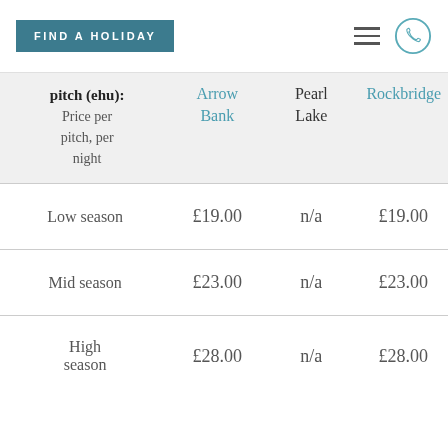FIND A HOLIDAY
| pitch (ehu): Price per pitch, per night | Arrow Bank | Pearl Lake | Rockbridge |
| --- | --- | --- | --- |
| Low season | £19.00 | n/a | £19.00 |
| Mid season | £23.00 | n/a | £23.00 |
| High season | £28.00 | n/a | £28.00 |